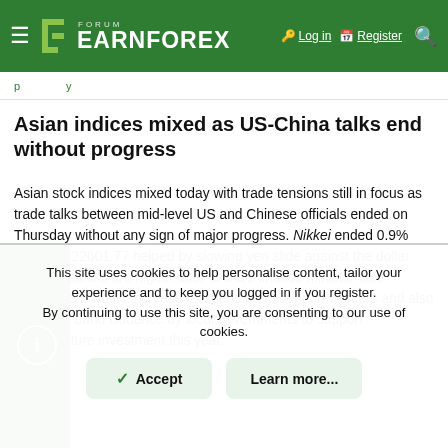FORUM EARNFOREX — Log in | Register
...p...y...
Asian indices mixed as US-China talks end without progress
Asian stock indices mixed today with trade tensions still in focus as trade talks between mid-level US and Chinese officials ended on Thursday without any sign of major progress. Nikkei ended 0.9% higher at 22601.77 helped by slowing yen slide against the dollar. Chinese stocks are higher after China's finance minister said government would increase its spending to support workers and also predicted bond issuance by local governments to support infrastructure investment this year:
This site uses cookies to help personalise content, tailor your experience and to keep you logged in if you register. By continuing to use this site, you are consenting to our use of cookies.